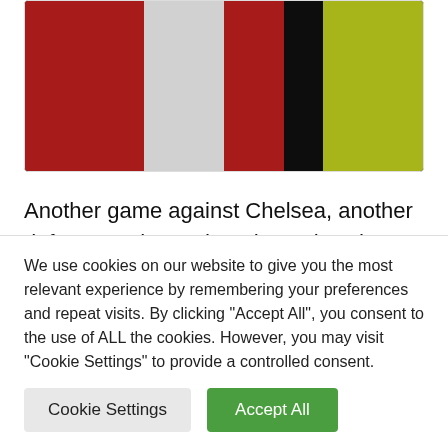[Figure (photo): Sports photo showing football/soccer players in red Arsenal jerseys and a referee in a yellow/green vest against a dark background]
Another game against Chelsea, another defeat, another red card, another day when we'd all like to go back in time and give Diego Costa a first class ticket for this fantastic new airship called The Hindenburg.
Here's how the players rated.
We use cookies on our website to give you the most relevant experience by remembering your preferences and repeat visits. By clicking "Accept All", you consent to the use of ALL the cookies. However, you may visit "Cookie Settings" to provide a controlled consent.